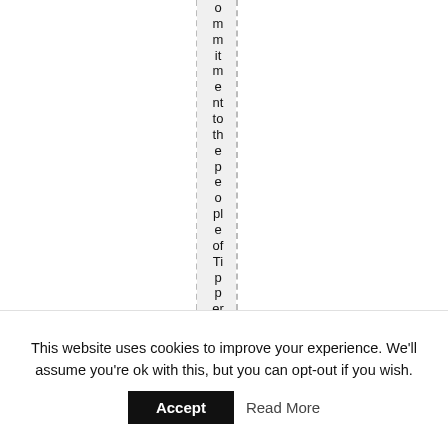ommitment to the people of Tipperary. We
This website uses cookies to improve your experience. We'll assume you're ok with this, but you can opt-out if you wish.